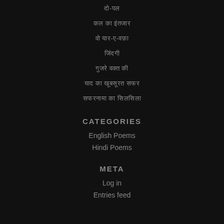दो-पल
कल का इंतजार
वो यार-ए-वफ़ा
जिंदगी
गुजरे वक्त की
याद का खूबसूरत सफर
सफरनामा का सिलसिला
CATEGORIES
English Poems
Hindi Poems
META
Log in
Entries feed